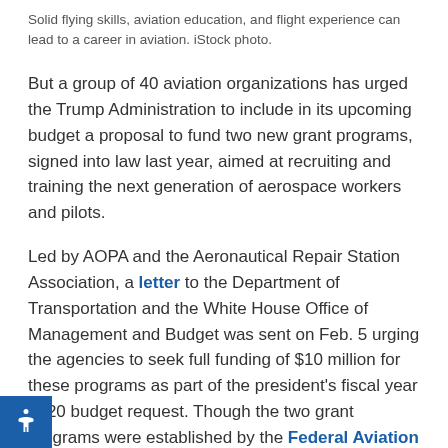Solid flying skills, aviation education, and flight experience can lead to a career in aviation. iStock photo.
But a group of 40 aviation organizations has urged the Trump Administration to include in its upcoming budget a proposal to fund two new grant programs, signed into law last year, aimed at recruiting and training the next generation of aerospace workers and pilots.
Led by AOPA and the Aeronautical Repair Station Association, a letter to the Department of Transportation and the White House Office of Management and Budget was sent on Feb. 5 urging the agencies to seek full funding of $10 million for these programs as part of the president's fiscal year 2020 budget request. Though the two grant programs were established by the Federal Aviation Administration authorization Act of 2018, they still must be funded.